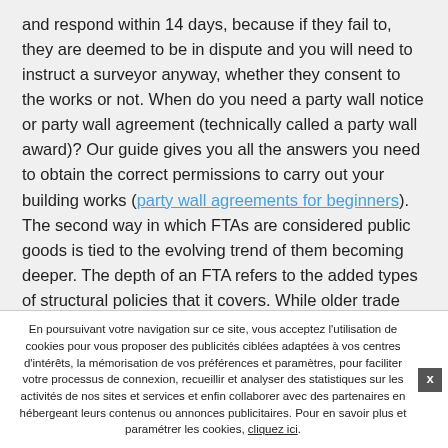and respond within 14 days, because if they fail to, they are deemed to be in dispute and you will need to instruct a surveyor anyway, whether they consent to the works or not. When do you need a party wall notice or party wall agreement (technically called a party wall award)? Our guide gives you all the answers you need to obtain the correct permissions to carry out your building works (party wall agreements for beginners). The second way in which FTAs are considered public goods is tied to the evolving trend of them becoming deeper. The depth of an FTA refers to the added types of structural policies that it covers. While older trade deals are deemed shallower as they cover fewer areas (such as tariffs and quotas), more
En poursuivant votre navigation sur ce site, vous acceptez l'utilisation de cookies pour vous proposer des publicités ciblées adaptées à vos centres d'intérêts, la mémorisation de vos préférences et paramètres, pour faciliter votre processus de connexion, recueillir et analyser des statistiques sur les activités de nos sites et services et enfin collaborer avec des partenaires en hébergeant leurs contenus ou annonces publicitaires. Pour en savoir plus et paramétrer les cookies, cliquez ici.